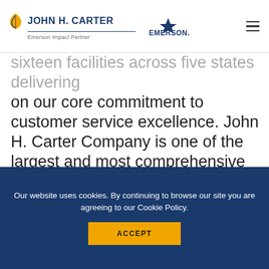JOHN H. CARTER | Emerson Impact Partner | EMERSON.
sixteen facilities across five states delivering on our core commitment to customer service excellence. John H. Carter Company is one of the largest and most comprehensive manufacturer's representatives in our region. We deliver innovative and industry leading products, services and expertise to help customers operate safely, reliably, and efficiently.
Our website uses cookies. By continuing to browse our site you are agreeing to our Cookie Policy. ACCEPT